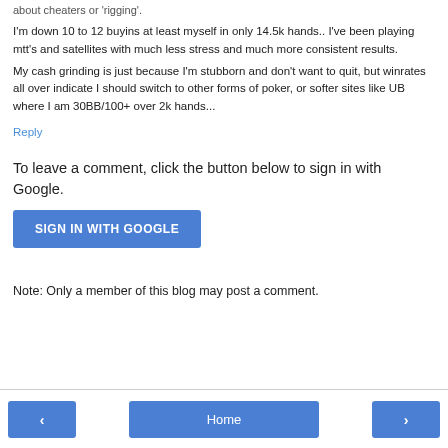about cheaters or 'rigging'.
I'm down 10 to 12 buyins at least myself in only 14.5k hands.. I've been playing mtt's and satellites with much less stress and much more consistent results.
My cash grinding is just because I'm stubborn and don't want to quit, but winrates all over indicate I should switch to other forms of poker, or softer sites like UB where I am 30BB/100+ over 2k hands...
Reply
To leave a comment, click the button below to sign in with Google.
[Figure (other): SIGN IN WITH GOOGLE button]
Note: Only a member of this blog may post a comment.
< Home >